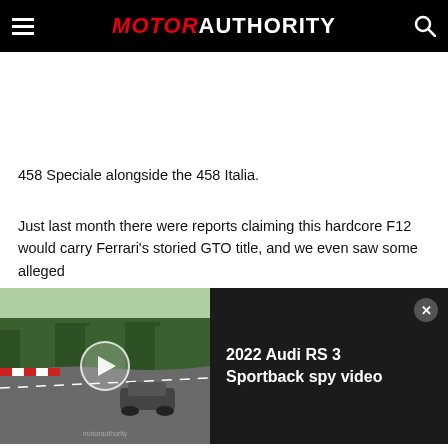MOTOR AUTHORITY
458 Speciale alongside the 458 Italia.
Just last month there were reports claiming this hardcore F12 would carry Ferrari's storied GTO title, and we even saw some alleged
[Figure (screenshot): Video widget showing 2022 Audi RS 3 Sportback spy video on a racetrack, with play button and close button]